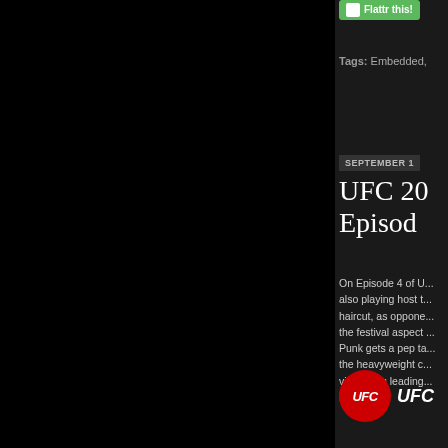[Figure (screenshot): Black left panel taking up most of the page width]
[Figure (screenshot): Flattr this! green button at top right]
Tags: Embedded,
SEPTEMBER 1
UFC 20
Episod
On Episode 4 of U... also playing host t... haircut, as oppone... the festival aspect ... Punk gets a pep ta... the heavyweight c... video blog leading... Per-View.
[Figure (logo): UFC red circle logo with UFC text and UFC channel name text]